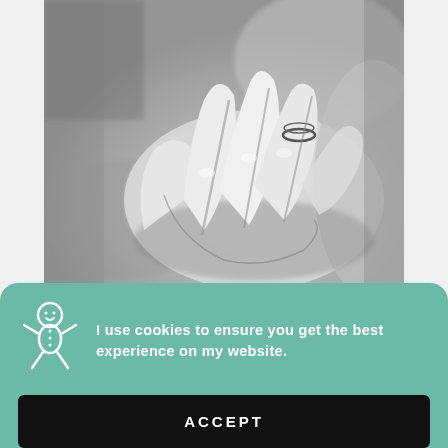[Figure (illustration): Black and white charcoal or watercolor drawing of a hand resting on a surface, showing detailed fingers with a ring on one finger]
LESSON TWO
A HAND IN WATERCOLOR
I use cookies to ensure you get the best experience on my website.
ACCEPT